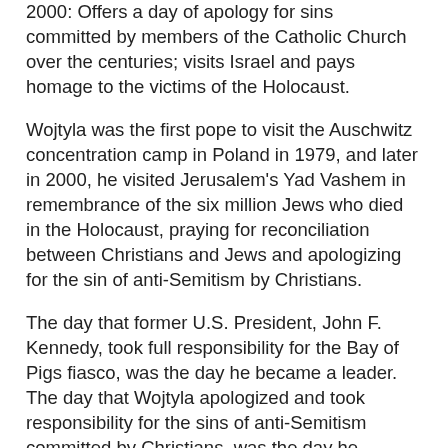2000: Offers a day of apology for sins committed by members of the Catholic Church over the centuries; visits Israel and pays homage to the victims of the Holocaust.
Wojtyla was the first pope to visit the Auschwitz concentration camp in Poland in 1979, and later in 2000, he visited Jerusalem's Yad Vashem in remembrance of the six million Jews who died in the Holocaust, praying for reconciliation between Christians and Jews and apologizing for the sin of anti-Semitism by Christians.
The day that former U.S. President, John F. Kennedy, took full responsibility for the Bay of Pigs fiasco, was the day he became a leader. The day that Wojtyla apologized and took responsibility for the sins of anti-Semitism committed by Christians, was the day he became a truly respected global leader.
Leadership lesson: leaders take full responsibility for their organization. Blaming and complaining is the mark of a loser. We can make excuses or we can make progress – but we certainly can't do both. To be a leader, you must take full responsibility for your actions, your team, and ultimately the